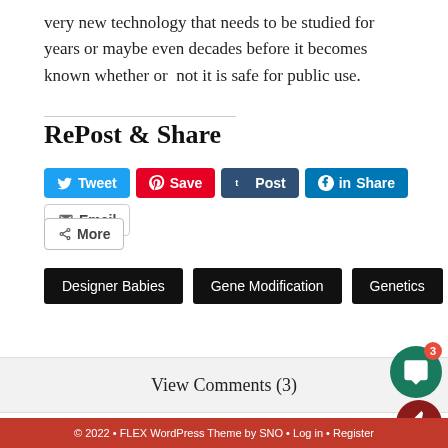very new technology that needs to be studied for years or maybe even decades before it becomes known whether or not it is safe for public use.
RePost & Share
[Figure (other): Social share buttons: Tweet (blue), Save (red/Pinterest), Post (dark blue/Tumblr), Share (LinkedIn blue), Email (outline), More (outline with share icon)]
Designer Babies
Gene Modification
Genetics
View Comments (3)
© 2022 • FLEX WordPress Theme by SNO • Log in • Register